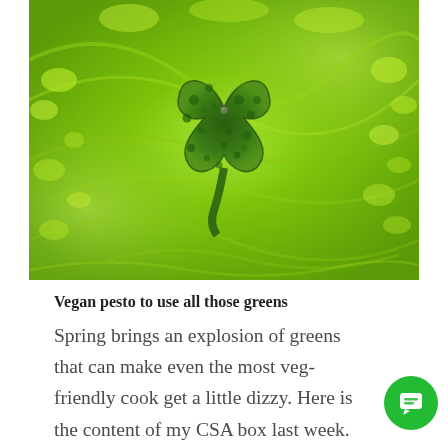[Figure (photo): Close-up top-down photograph of a green blended smoothie or green liquid in a blender, showing a dark green clover-leaf shaped vortex pattern in the center surrounded by bright lime green frothy liquid.]
Vegan pesto to use all those greens
Spring brings an explosion of greens that can make even the most veg-friendly cook get a little dizzy. Here is the content of my CSA box last week. This week's was very similar.